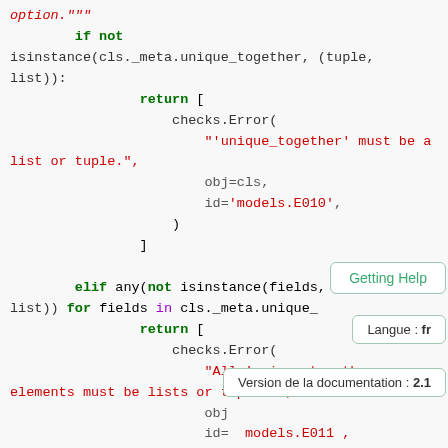Code snippet showing Django model validation logic with unique_together checks, including error returns for invalid types. Overlaid tooltips show 'Getting Help', 'Langue: fr', and 'Version de la documentation: 2.1'.